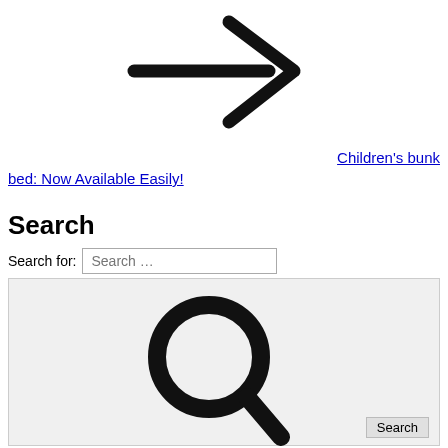[Figure (illustration): A large black right-pointing arrow symbol]
Children's bunk bed: Now Available Easily!
Search
[Figure (illustration): A search form with a text input labeled 'Search for:' containing placeholder text 'Search ...' and a large magnifying glass icon button labeled 'Search']